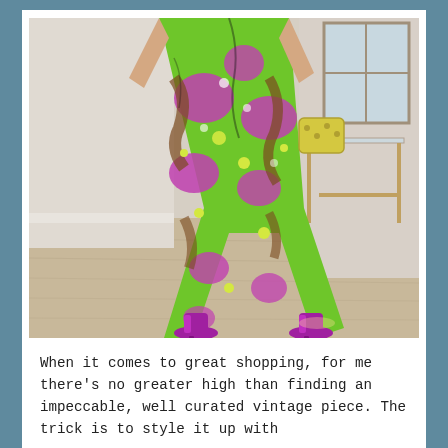[Figure (photo): A person wearing a vibrant psychedelic 1970s-style floral wide-leg pantsuit in green, purple, brown, and yellow. They are wearing matching purple platform heels and holding a yellow handbag. Standing on a wood floor hallway with white walls and a glass-top table visible in the background.]
When it comes to great shopping, for me there's no greater high than finding an impeccable, well curated vintage piece. The trick is to style it up with